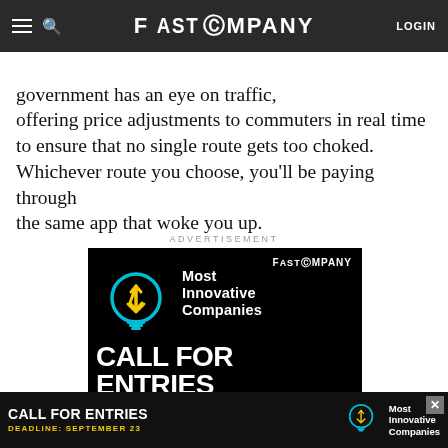FAST COMPANY
reduced toll for the slightly-farther-away bridge. The government has an eye on traffic, offering price adjustments to commuters in real time to ensure that no single route gets too choked. Whichever route you choose, you'll be paying through the same app that woke you up.
ADVERTISEMENT
[Figure (other): Fast Company advertisement for 'Most Innovative Companies — Call for Entries' with a lightbulb icon, cyan and yellow on black background, with 'Apply Now' button and 'Application Deadline:']
[Figure (other): Bottom banner ad: 'CALL FOR ENTRIES — DEADLINE: SEPTEMBER 23, Most Innovative Companies' with lightbulb icon on dark background]